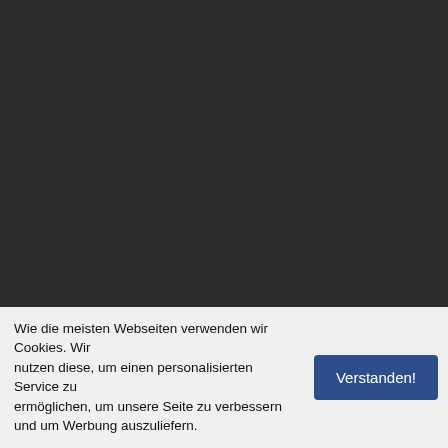May (Homepage) hat am 02.11.2018 04: geschrieben :
Andresbilderwelt.de.to
Cheap Jerseys free shipping
wholesale nfl jerseys
I just had to see it." The 42 year old poses. Heather Rene Smith, left, and Christine Sr women are not related.. They selling addi there something very and roll about it. It d and danger sells.
Cheap Jerseys free shipping
Josh (Homepage) hat am 02.11.2018 04: geschrieben :
Andresbilderwelt.de.to
cheap sex toys
Holley (Homepage) hat am 02.11.2018 0 geschrieben :
Wie die meisten Webseiten verwenden wir Cookies. Wir nutzen diese, um einen personalisierten Service zu ermöglichen, um unsere Seite zu verbessern und um Werbung auszuliefern.